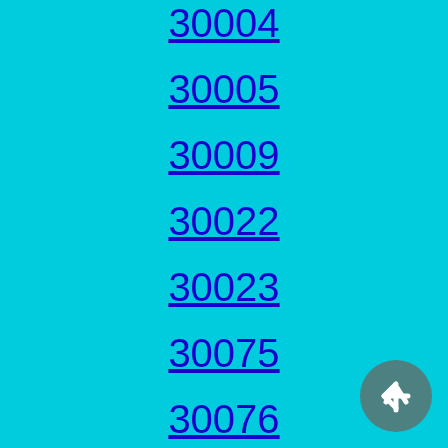30004
30005
30009
30022
30023
30075
30076
30077
30213
30268
30272
30291
30301
30302
30303
30304
30305